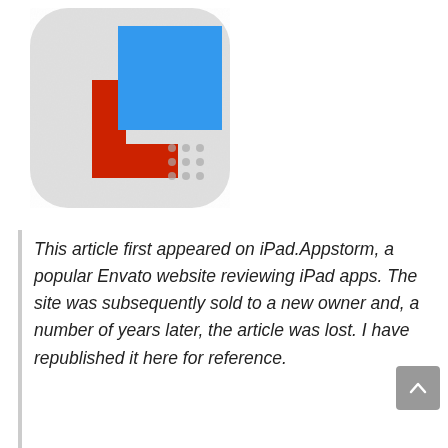[Figure (logo): App icon with rounded rectangle shape, white/light gray textured background, a red L-shaped piece and a blue square overlapping it, with small dots in the lower right area of the icon]
This article first appeared on iPad.Appstorm, a popular Envato website reviewing iPad apps. The site was subsequently sold to a new owner and, a number of years later, the article was lost. I have republished it here for reference.